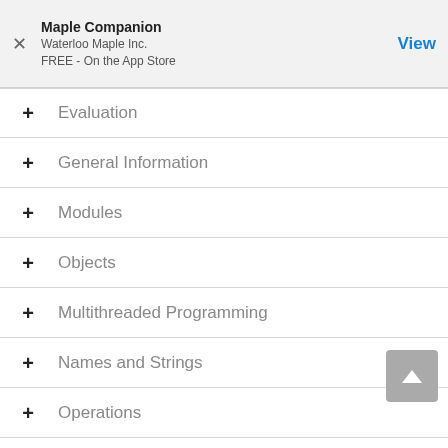Maple Companion
Waterloo Maple Inc.
FREE - On the App Store
Evaluation
General Information
Modules
Objects
Multithreaded Programming
Names and Strings
Operations
Audio Processing
Bits